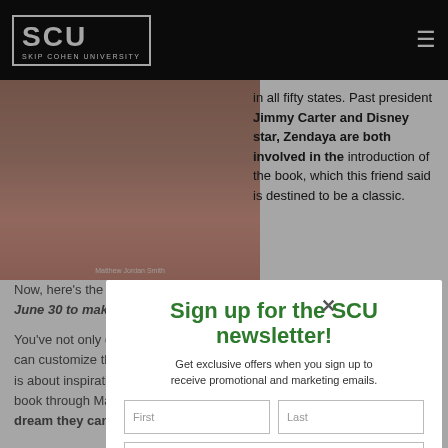SCU - Skip Cohen University
[Figure (photo): Partial face/portrait photo with person's lower face visible, photo credit 'Matthew Jordan Smith' at bottom]
in all fifty states. Past president Jimmy Carter and Disney star, Zendaya are both involved in the introduction of the book, which this friend said is destined to be a classic.
Now, here's the idea I think is so brilliant and you've only got until June 30 to make it a reality...
You've not only got an opportunity to buy the book for your kids, but you can customize the cover with an image of your child or grandchild. This is about inspiration, and although your kids might not be featured in the book through Matthew's camera, it's your chance to reinforce the dream they can be anything they set their mind to.
Sign up for the SCU newsletter!
Get exclusive offers when you sign up to receive promotional and marketing emails.
First
Last
Email Address
Subscribe